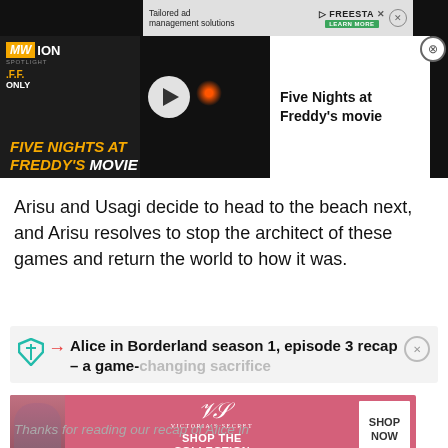[Figure (screenshot): Video player banner: Five Nights at Freddy's movie promotional video with dark background, play button, MW Spotlight logo, yellow FIVE NIGHTS AT FREDDY'S MOVIE text overlay, and top ad bar for Freestar]
Arisu and Usagi decide to head to the beach next, and Arisu resolves to stop the architect of these games and return the world to how it was.
[Figure (screenshot): Related article box: Alice in Borderland season 1, episode 3 recap – a game-changing sacrifice, with shield/filter icon, red arrow, and close button]
[Figure (screenshot): Victoria's Secret advertisement banner: Shop the Collection, Shop Now button, with model photo on left and VS logo]
Thanks for reading our recap of Alice in